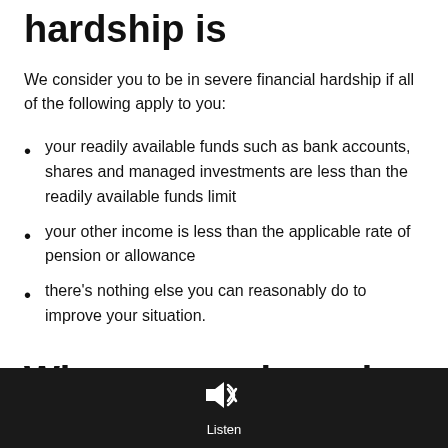hardship is
We consider you to be in severe financial hardship if all of the following apply to you:
your readily available funds such as bank accounts, shares and managed investments are less than the readily available funds limit
your other income is less than the applicable rate of pension or allowance
there's nothing else you can reasonably do to improve your situation.
Who can apply under the
Listen